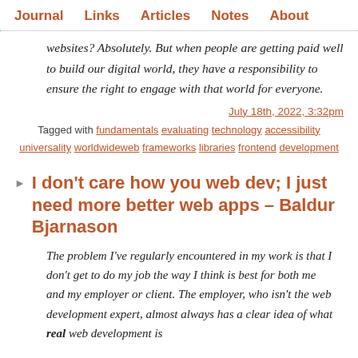Journal  Links  Articles  Notes  About
websites? Absolutely. But when people are getting paid well to build our digital world, they have a responsibility to ensure the right to engage with that world for everyone.
July 18th, 2022, 3:32pm
Tagged with fundamentals evaluating technology accessibility universality worldwideweb frameworks libraries frontend development
I don't care how you web dev; I just need more better web apps – Baldur Bjarnason
The problem I've regularly encountered in my work is that I don't get to do my job the way I think is best for both me and my employer or client. The employer, who isn't the web development expert, almost always has a clear idea of what real web development is